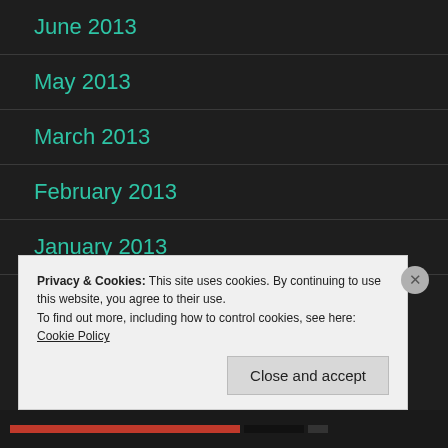June 2013
May 2013
March 2013
February 2013
January 2013
Privacy & Cookies: This site uses cookies. By continuing to use this website, you agree to their use.
To find out more, including how to control cookies, see here: Cookie Policy
Close and accept